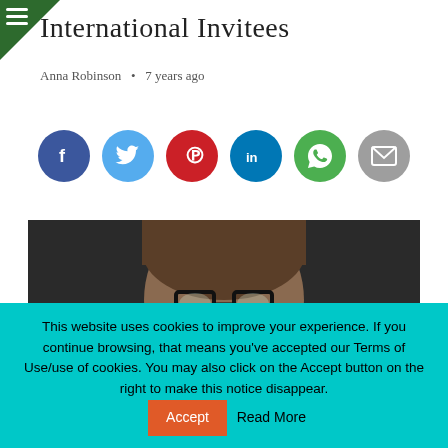International Invitees
Anna Robinson  •  7 years ago
[Figure (infographic): Row of six social media sharing icons: Facebook (blue), Twitter (light blue), Pinterest (red), LinkedIn (dark blue), WhatsApp (green), Email (grey)]
[Figure (photo): Close-up photo of a person with brown hair and black-framed glasses, dark background]
This website uses cookies to improve your experience. If you continue browsing, that means you've accepted our Terms of Use/use of cookies. You may also click on the Accept button on the right to make this notice disappear.